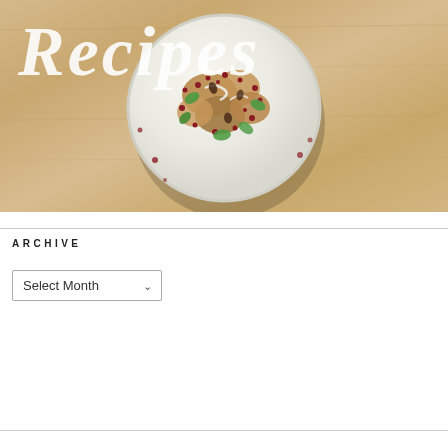[Figure (photo): A top-down photo of a white plate with roasted food (possibly cauliflower or chicken) garnished with pomegranate seeds and green mint leaves, placed on a light wood table. The word 'Recipes' is overlaid in white handwriting-style script across the upper portion of the image.]
ARCHIVE
Select Month